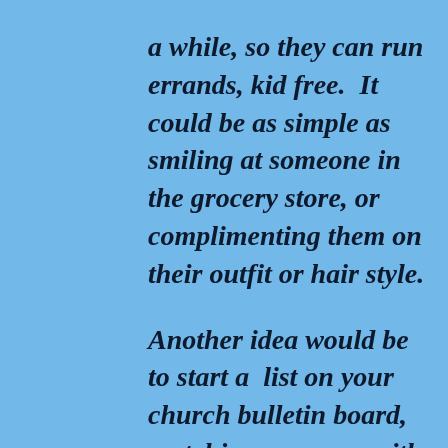a while, so they can run errands, kid free.  It could be as simple as smiling at someone in the grocery store, or complimenting them on their outfit or hair style.

Another idea would be to start a  list on your church bulletin board, matching someone with needs to talents and treasures of others. Ministry opportunities are endless. You don't need to look far to find them.